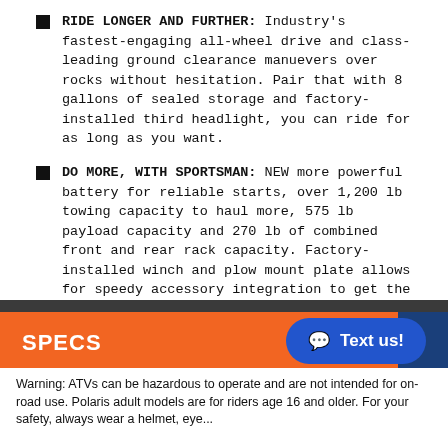RIDE LONGER AND FURTHER: Industry's fastest-engaging all-wheel drive and class-leading ground clearance manuevers over rocks without hesitation. Pair that with 8 gallons of sealed storage and factory-installed third headlight, you can ride for as long as you want.
DO MORE, WITH SPORTSMAN: NEW more powerful battery for reliable starts, over 1,200 lb towing capacity to haul more, 575 lb payload capacity and 270 lb of combined front and rear rack capacity. Factory-installed winch and plow mount plate allows for speedy accessory integration to get the tough jobs done quickly.
SPECS
PHOTOS
PROMOTIONS
Warning: ATVs can be hazardous to operate and are not intended for on-road use. Polaris adult models are for riders age 16 and older. For your safety, always wear a helmet, eye...